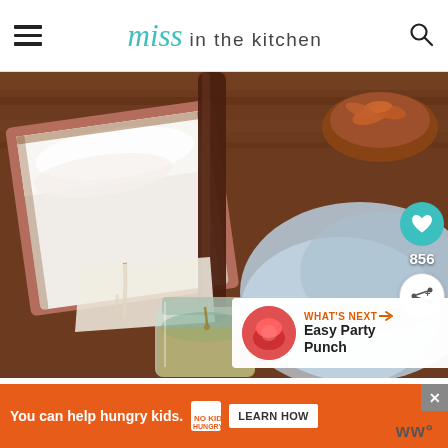Miss in the kitchen
[Figure (photo): Close-up photo of a baking pan with white frosting/marshmallow being tilted to pour caramel/grease drippings into a glass mason jar. Blue cloth and wood table in background with a bowl of chips.]
WHAT'S NEXT → Easy Party Punch
You can help hungry kids. NO KID HUNGRY LEARN HOW